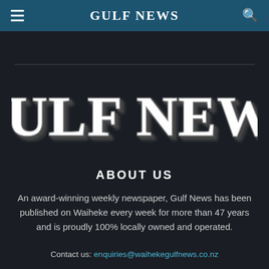Gulf News
[Figure (logo): Gulf News large serif logo with white 3D shadow effect on dark background]
ABOUT US
An award-winning weekly newspaper, Gulf News has been published on Waiheke every week for more than 47 years and is proudly 100% locally owned and operated.
Contact us: enquiries@waihekegulfnews.co.nz